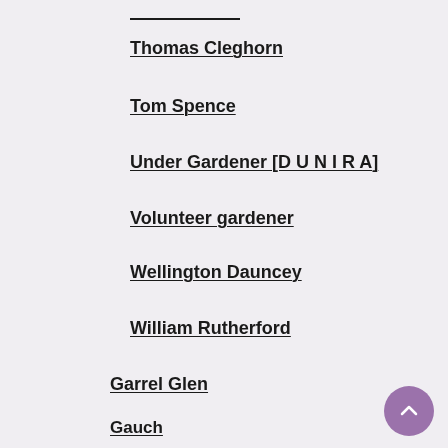Thomas Cleghorn
Tom Spence
Under Gardener [D U N I R A]
Volunteer gardener
Wellington Dauncey
William Rutherford
Garrel Glen
Gauch
Glen Girnoc